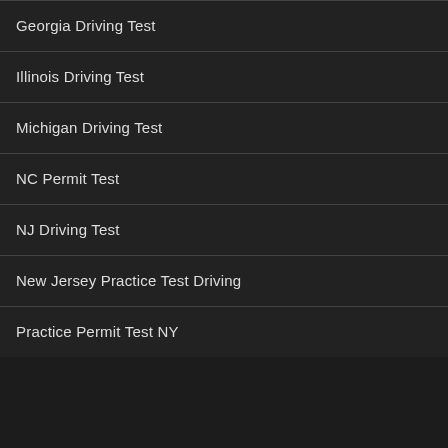Georgia Driving Test
Illinois Driving Test
Michigan Driving Test
NC Permit Test
NJ Driving Test
New Jersey Practice Test Driving
Practice Permit Test NY